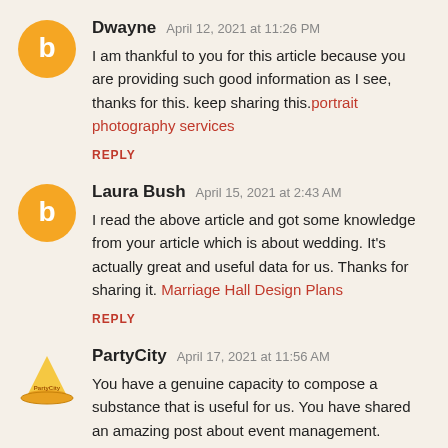Dwayne  April 12, 2021 at 11:26 PM
I am thankful to you for this article because you are providing such good information as I see, thanks for this. keep sharing this. portrait photography services
REPLY
Laura Bush  April 15, 2021 at 2:43 AM
I read the above article and got some knowledge from your article which is about wedding. It's actually great and useful data for us. Thanks for sharing it. Marriage Hall Design Plans
REPLY
PartyCity  April 17, 2021 at 11:56 AM
You have a genuine capacity to compose a substance that is useful for us. You have shared an amazing post about event management. Catering services in Cyprus.Much obliged to